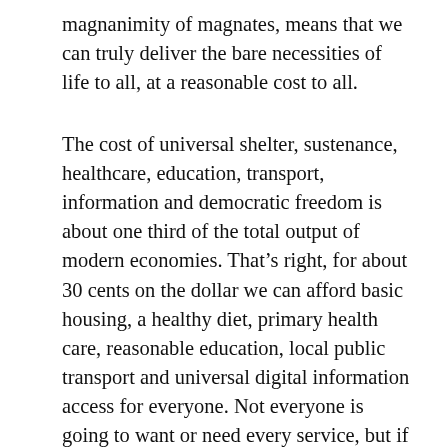magnanimity of magnates, means that we can truly deliver the bare necessities of life to all, at a reasonable cost to all.
The cost of universal shelter, sustenance, healthcare, education, transport, information and democratic freedom is about one third of the total output of modern economies. That's right, for about 30 cents on the dollar we can afford basic housing, a healthy diet, primary health care, reasonable education, local public transport and universal digital information access for everyone. Not everyone is going to want or need every service, but if they did, we can afford to provide them today; with the same tax rates we are already paying.